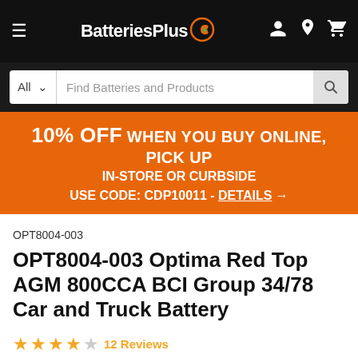[Figure (screenshot): BatteriesPlus website navigation bar with hamburger menu, logo, and icons for account, location, and cart]
[Figure (screenshot): Search bar with 'All' dropdown and 'Find Batteries and Products' placeholder text]
10% OFF WHEN YOU BUY ONLINE, PICK UP IN-STORE OR CURBSIDE USE CODE: CDP10011 - DETAILS →
OPT8004-003
OPT8004-003 Optima Red Top AGM 800CCA BCI Group 34/78 Car and Truck Battery
★★★★☆ 12 Reviews